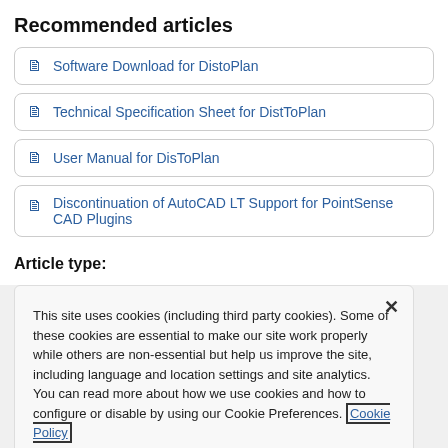Recommended articles
Software Download for DistoPlan
Technical Specification Sheet for DistToPlan
User Manual for DisToPlan
Discontinuation of AutoCAD LT Support for PointSense CAD Plugins
Article type:
This site uses cookies (including third party cookies). Some of these cookies are essential to make our site work properly while others are non-essential but help us improve the site, including language and location settings and site analytics. You can read more about how we use cookies and how to configure or disable by using our Cookie Preferences. Cookie Policy